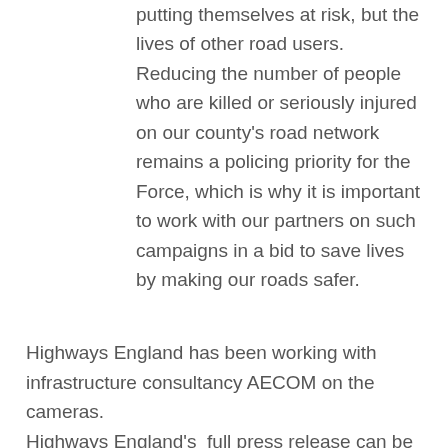putting themselves at risk, but the lives of other road users.
Reducing the number of people who are killed or seriously injured on our county's road network remains a policing priority for the Force, which is why it is important to work with our partners on such campaigns in a bid to save lives by making our roads safer.
Highways England has been working with infrastructure consultancy AECOM on the cameras.
Highways England's full press release can be found here.
The Sunday Times reports that the cameras are likely to be introduced following further research.
One of the things we point out on a Defensive Driving